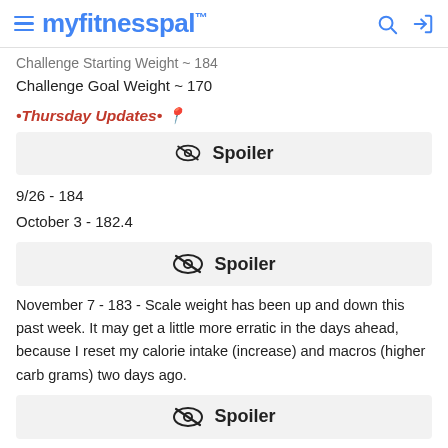myfitnesspal
Challenge Starting Weight ~ 184
Challenge Goal Weight ~ 170
•Thursday Updates• 📍
[Figure (other): Spoiler toggle button with eye-slash icon]
9/26 - 184
October 3 - 182.4
[Figure (other): Spoiler toggle button with eye-slash icon]
November 7 - 183 - Scale weight has been up and down this past week. It may get a little more erratic in the days ahead, because I reset my calorie intake (increase) and macros (higher carb grams) two days ago.
[Figure (other): Spoiler toggle button with eye-slash icon]